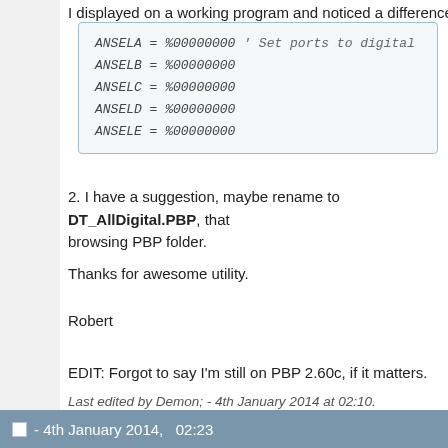I displayed on a working program and noticed a difference. This is
[Figure (screenshot): Code block with blue border showing ANSELA = %00000000 ' Set ports to digital, ANSELB = %00000000, ANSELC = %00000000, ANSELD = %00000000, ANSELE = %00000000]
2. I have a suggestion, maybe rename to DT_AllDigital.PBP, that browsing PBP folder.
Thanks for awesome utility.
Robert
EDIT: Forgot to say I'm still on PBP 2.60c, if it matters.
Last edited by Demon; - 4th January 2014 at 02:10.
- 4th January 2014,   02:23
Darrel Taylor
Fanatical Contributor